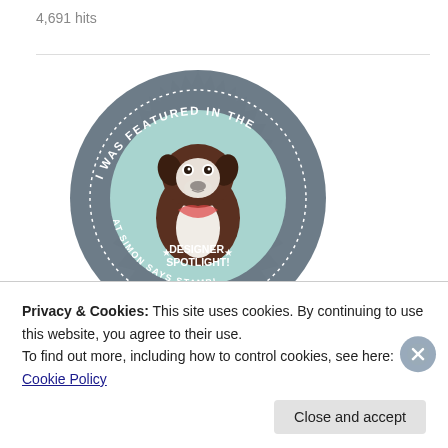4,691 hits
[Figure (logo): Circular badge logo reading 'I WAS FEATURED IN THE DESIGNER SPOTLIGHT! AT SIMON SAYS STAMP!' with an illustration of a Boston Terrier dog in the center on a teal circle, surrounded by a gray starburst border.]
Kassidy's Designer Spotlight for her Rock of the Sea 2017
Privacy & Cookies: This site uses cookies. By continuing to use this website, you agree to their use.
To find out more, including how to control cookies, see here: Cookie Policy
Close and accept